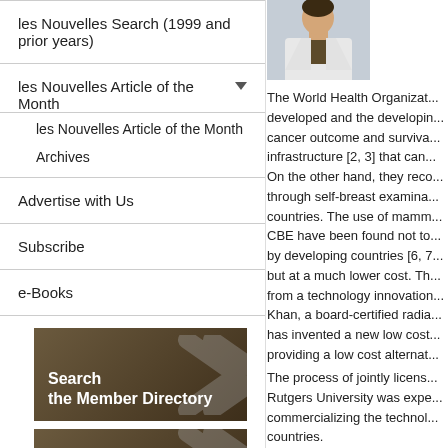les Nouvelles Search (1999 and prior years)
les Nouvelles Article of the Month
les Nouvelles Article of the Month Archives
Advertise with Us
Subscribe
e-Books
[Figure (photo): Portrait photo of a man in a white coat with a dark tie]
The World Health Organizat... developed and the developin... cancer outcome and surviva... infrastructure [2, 3] that can... On the other hand, they rec... through self-breast examina... countries. The use of mamm... CBE have been found not to... by developing countries [6, 7... but at a much lower cost. Th... from a technology innovation... Khan, a board-certified radia... has invented a new low cost... providing a low cost alternat...
The process of jointly licens... Rutgers University was expe... commercializing the technol... countries.
[Figure (infographic): Brown banner with chevron arrow and white text: Search the Member Directory]
[Figure (infographic): Brown banner with chevron arrow and white text: Read]